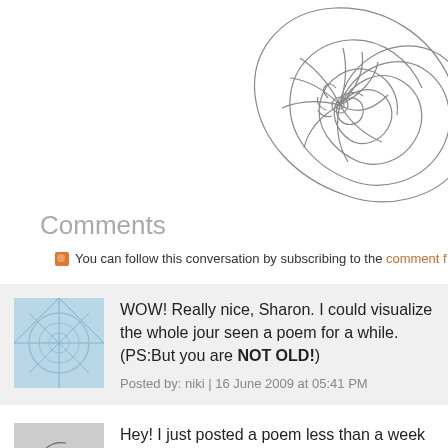[Figure (illustration): Line drawing of a nautilus shell in the upper right corner, partial view cropped at the right edge.]
Comments
You can follow this conversation by subscribing to the comment f
WOW! Really nice, Sharon. I could visualize the whole jour seen a poem for a while. (PS:But you are NOT OLD!)
Posted by: niki | 16 June 2009 at 05:41 PM
Hey! I just posted a poem less than a week ago. Heavens to
And, a reminder that one must not assume that the speake